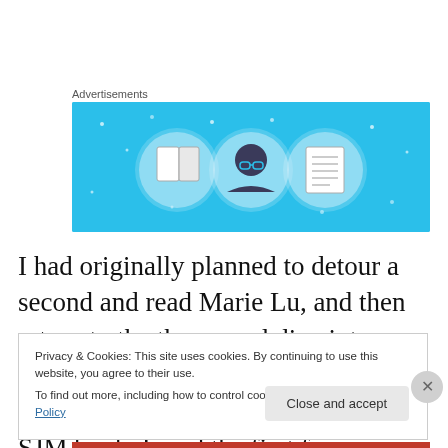Advertisements
[Figure (illustration): Advertisement banner with light blue background featuring three circular icon illustrations: a book/document, a person with glasses reading, and a list/document icon with decorative dot sparkles around them.]
I had originally planned to detour a second and read Marie Lu, and then return to the theme and dive into Maas' Crescent City. But I decided that I still wasn't ready for another SJM book. I read the first few pages and put it
Privacy & Cookies: This site uses cookies. By continuing to use this website, you agree to their use.
To find out more, including how to control cookies, see here: Cookie Policy
Close and accept